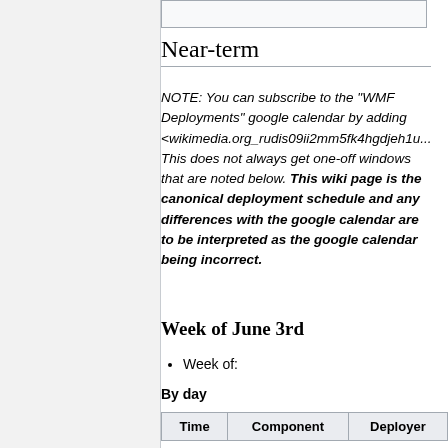Near-term
NOTE: You can subscribe to the "WMF Deployments" google calendar by adding <wikimedia.org_rudis09ii2mm5fk4hgdjeh1u@... This does not always get one-off windows that are noted below. This wiki page is the canonical deployment schedule and any differences with the google calendar are to be interpreted as the google calendar being incorrect.
Week of June 3rd
Week of:
By day
| Time | Component | Deployer |
| --- | --- | --- |